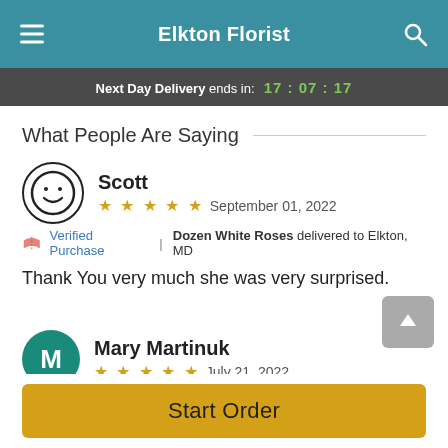Elkton Florist
Next Day Delivery ends in: 17:07:17
What People Are Saying
Scott
★★★★★  September 01, 2022
🏷 Verified Purchase | Dozen White Roses delivered to Elkton, MD
Thank You very much she was very surprised.
Mary Martinuk
★★★★★  July 21, 2022
Start Order